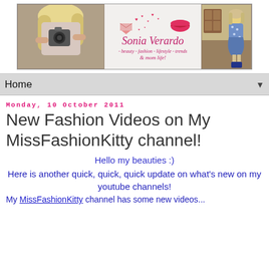[Figure (photo): Blog header banner showing a blonde girl taking a selfie with a camera on the left, a decorative logo with 'Sonia Verardo' text and hearts/lips in the center, and a girl in a floral dress on the right. Subtitle reads: beauty, fashion, lifestyle, trends & mom life!]
Home ▼
Monday, 10 October 2011
New Fashion Videos on My MissFashionKitty channel!
Hello my beauties :)
Here is another quick, quick, quick update on what's new on my youtube channels!
My MissFashionKitty channel has some new videos...